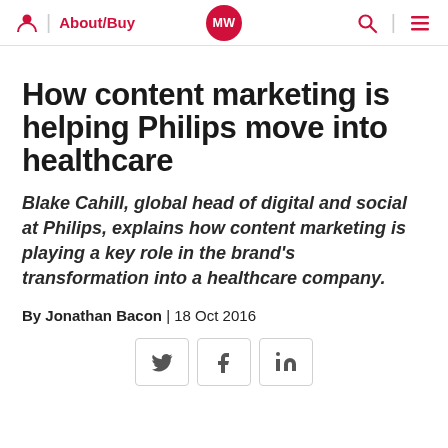About/Buy | MW
How content marketing is helping Philips move into healthcare
Blake Cahill, global head of digital and social at Philips, explains how content marketing is playing a key role in the brand's transformation into a healthcare company.
By Jonathan Bacon | 18 Oct 2016
[Figure (other): Social sharing buttons: Twitter, Facebook, LinkedIn]